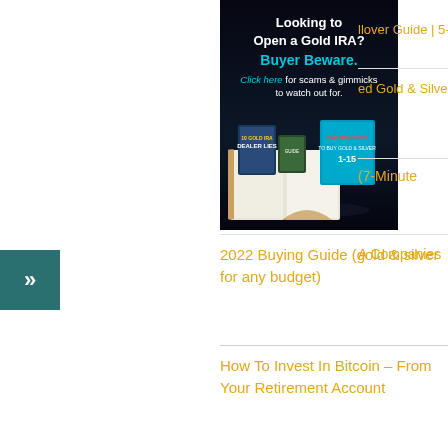[Figure (illustration): Advertisement for Gold IRA guide showing books titled '10 Gold IRA Dealer Lies' and 'Bad Reasons to Buy Gold & Silver 1-15' with text 'Looking to Open a Gold IRA? Buyer Beware. Click here for scams & gimmicks to watch out for.']
llover Guide | 5-
ed Gold & Silver
(7-Minute
A Companies
2022 Buying Guide (gold & silver for any budget)
How To Invest In Bitcoin – From Your Retirement Account